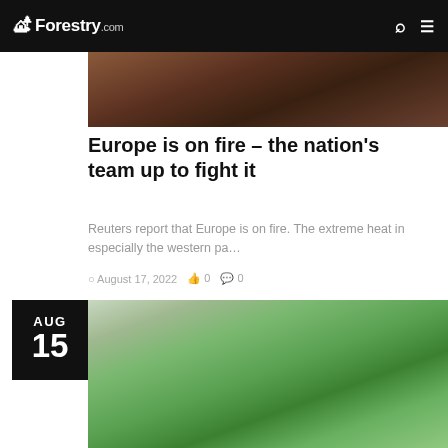Forestry.com
[Figure (photo): Top partial image of forest fire scene with dark reddish-brown tones]
Europe is on fire – the nation's team up to fight it
Reuters report that Europe is on fire. The extreme heat in especially the western pa…
August 17, 2022  0  0
[Figure (photo): Close-up photo of green conifer tree branches with blurred forest background]